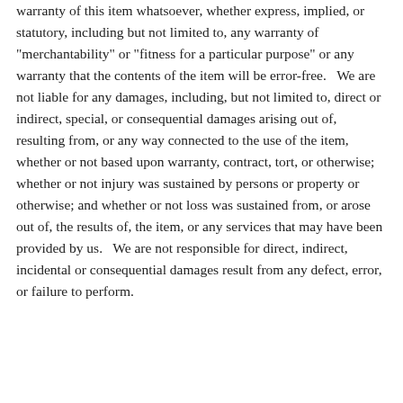warranty of this item whatsoever, whether express, implied, or statutory, including but not limited to, any warranty of "merchantability" or "fitness for a particular purpose" or any warranty that the contents of the item will be error-free.   We are not liable for any damages, including, but not limited to, direct or indirect, special, or consequential damages arising out of, resulting from, or any way connected to the use of the item, whether or not based upon warranty, contract, tort, or otherwise; whether or not injury was sustained by persons or property or otherwise; and whether or not loss was sustained from, or arose out of, the results of, the item, or any services that may have been provided by us.   We are not responsible for direct, indirect, incidental or consequential damages result from any defect, error, or failure to perform.